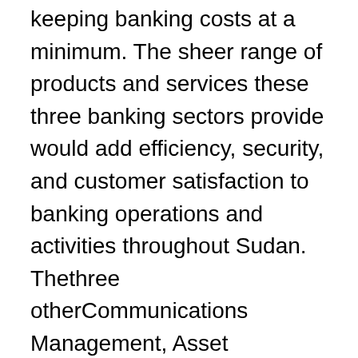keeping banking costs at a minimum. The sheer range of products and services these three banking sectors provide would add efficiency, security, and customer satisfaction to banking operations and activities throughout Sudan. Thethree otherCommunications Management, Asset Financing, and Investor Financing sectors will add value to the banking environment with efficient high tech consumer communications and leasing and lending facilities to customers in Sudan. Additionally,